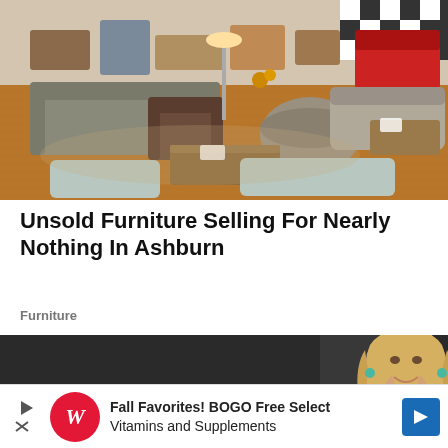[Figure (photo): Interior of a furniture store showroom with various sofas, armchairs, and ottomans displayed on hardwood floors, with a large open space and colorful decor in the background.]
Unsold Furniture Selling For Nearly Nothing In Ashburn
Furniture
[Figure (photo): Portrait of a smiling blonde woman holding pink flowers against a dark background.]
[Figure (other): Advertisement banner: Fall Favorites! BOGO Free Select Vitamins and Supplements - Walgreens]